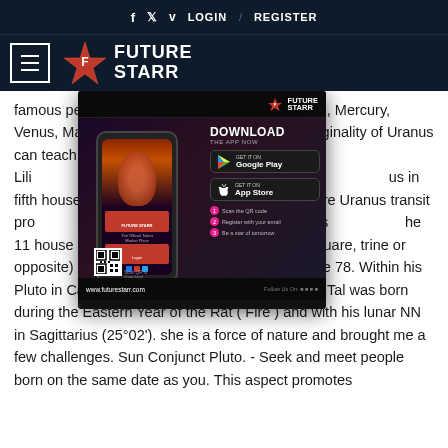f  twitter  v  LOGIN  /  REGISTER
[Figure (logo): Future Starr logo with hamburger menu icon, star emblem and wordmark FUTURE STARR on dark navy background]
famous people by the planetary position of Moon, Mercury, Venus, Mars, Jup… The originality of Uranus can teach… ns that don't serve her and Lili… ck in the body and not get stuck… us in fifth house suggests a creati… un square Uranus transit pro… two feet and not let anyone disres… he 11 house in a major aspect (conjunct, sextile, square, trine or opposite) with the MC/IC axis (orb 3°) (chi square 78. Within his Pluto in Cancer (28°44', Rx ) generation, Mikhail Tal was born during the Eastern Year of the Rat ( Fire ) and with his lunar NN in Sagittarius (25°02'). she is a force of nature and brought me a few challenges. Sun Conjunct Pluto. - Seek and meet people born on the same date as you. This aspect promotes
[Figure (screenshot): Future Starr app download popup advertisement showing a phone mockup, DOWNLOAD THE APP NOW text, Google Play and App Store buttons, QR code, and www.futurestarr.com URL]